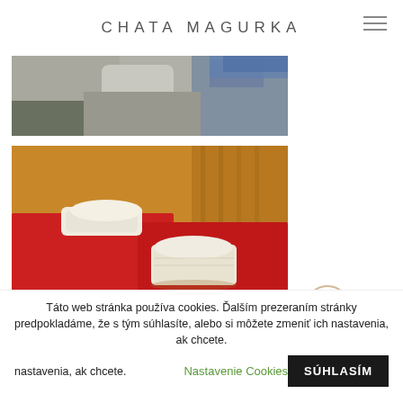CHATA MAGURKA
[Figure (photo): Partial view of outdoor stone/rock area with blue clothing visible, cropped at top]
[Figure (photo): Sauna interior with red towels and rolled white towels on wooden benches]
[Figure (photo): Partial view of outdoor green grass area, cropped at bottom]
Táto web stránka používa cookies. Ďalším prezeraním stránky predpokladáme, že s tým súhlasíte, alebo si môžete zmeniť ich nastavenia, ak chcete.
Nastavenie Cookies
SÚHLASÍM